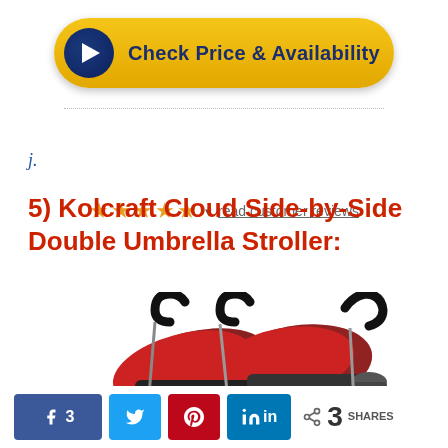[Figure (illustration): Yellow pill-shaped button with dark blue circular play icon on the left and bold navy text 'Check Price & Availability']
[Figure (other): 4.5 star rating with dropdown arrow and 'read customer reviews' link, followed by dotted separator line]
j.
5) Kolcraft Cloud Side-by-Side Double Umbrella Stroller:
[Figure (photo): Photo of a red and black Kolcraft Cloud Side-by-Side Double Umbrella Stroller with curved handles and cup holder]
[Figure (other): Social share bar with Facebook (3), Twitter, Pinterest, LinkedIn buttons and total count of 3 SHARES]